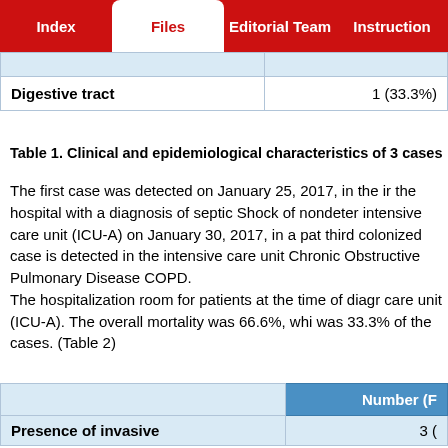Index | Files | Editorial Team | Instruction
|  | Number (%) |
| --- | --- |
| (partially cut off) | (partially cut off) |
| Digestive tract | 1 (33.3%) |
Table 1. Clinical and epidemiological characteristics of 3 cases
The first case was detected on January 25, 2017, in the intensive care unit the hospital with a diagnosis of septic Shock of nondetetermined origin. The intensive care unit (ICU-A) on January 30, 2017, in a patient with... third colonized case is detected in the intensive care unit... Chronic Obstructive Pulmonary Disease COPD. The hospitalization room for patients at the time of diagnosis was the intensive care unit (ICU-A). The overall mortality was 66.6%, while the colonization was 33.3% of the cases. (Table 2)
|  | Number (F |
| --- | --- |
| Presence of invasive | 3 ( |